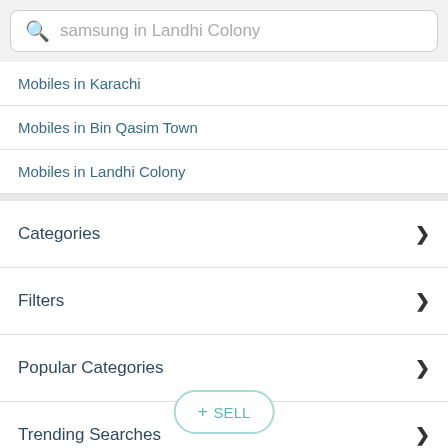samsung in Landhi Colony
Mobiles in Karachi
Mobiles in Bin Qasim Town
Mobiles in Landhi Colony
Categories
Filters
Popular Categories
Trending Searches
About Us
+ SELL